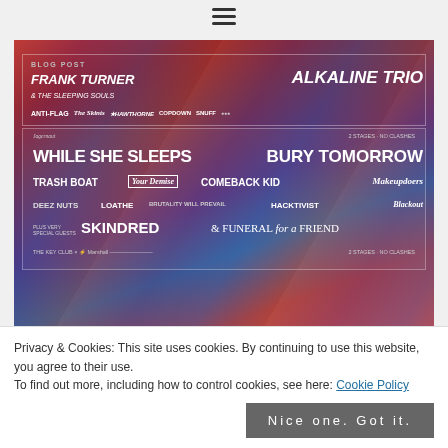[Figure (photo): Festival lineup poster for Slam Dunk 2021 featuring Frank Turner & The Sleeping Souls, Alkaline Trio, Anti-Flag, The Skints, Comeback Kid, While She Sleeps, Bury Tomorrow, Trash Boat, Your Demise, DEEZ NUTS, Loathe, Brutality Will Prevail, Hacktivist, Skindred, Funeral For A Friend and more.]
Hardbeat's Guide To Slam Dunk 2021
Privacy & Cookies: This site uses cookies. By continuing to use this website, you agree to their use.
To find out more, including how to control cookies, see here: Cookie Policy
Nice one. Got it.
Reading